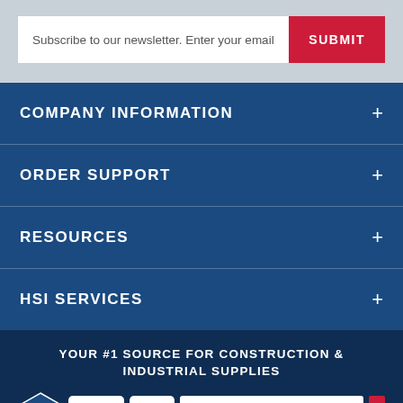Subscribe to our newsletter. Enter your email
COMPANY INFORMATION
ORDER SUPPORT
RESOURCES
HSI SERVICES
YOUR #1 SOURCE FOR CONSTRUCTION & INDUSTRIAL SUPPLIES
Leave a message